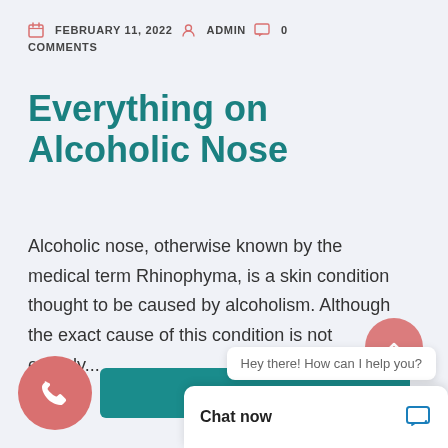FEBRUARY 11, 2022  ADMIN  0 COMMENTS
Everything on Alcoholic Nose
Alcoholic nose, otherwise known by the medical term Rhinophyma, is a skin condition thought to be caused by alcoholism. Although the exact cause of this condition is not entirely...
READ MORE →
Hey there! How can I help you?
Chat now